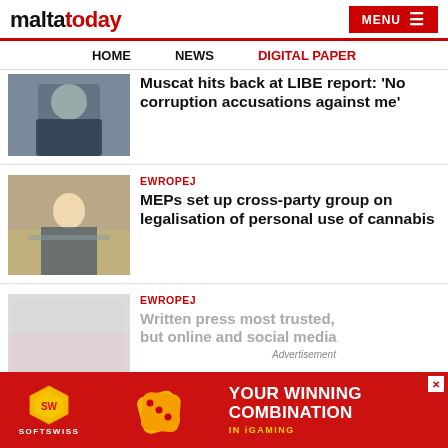maltatoday | MENU
HOME  NEWS  DIGITAL PAPER
[Figure (photo): Man in dark sweater seated outdoors]
Muscat hits back at LIBE report: ‘No corruption accusations against me’
[Figure (photo): MEP speaking at podium in parliament chamber]
EWROPEJ
MEPs set up cross-party group on legalisation of personal use of cannabis
[Figure (photo): Street scene with blurred overlay]
EWROPEJ
Written press most trusted, but online and social media
Advertisement
[Figure (infographic): SOFTSWISS advertisement: YOUR WINNING COMBINATION IN iGAMING]